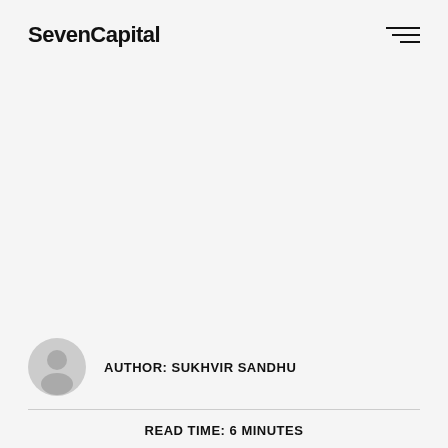SevenCapital
[Figure (illustration): Generic user avatar icon — circular grey silhouette of a person]
AUTHOR: Sukhvir Sandhu
READ TIME: 6 minutes